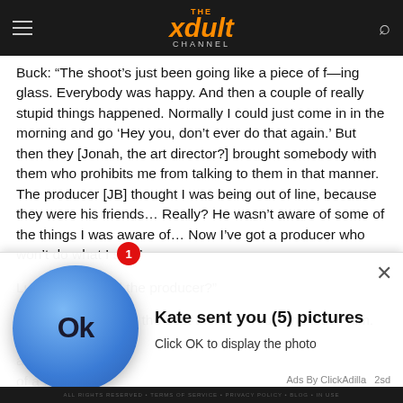THE xdult CHANNEL
Buck: "The shoot's just been going like a piece of f—ing glass. Everybody was happy. And then a couple of really stupid things happened. Normally I could just come in in the morning and go 'Hey you, don't ever do that again.' But then they [Jonah, the art director?] brought somebody with them who prohibits me from talking to them in that manner. The producer [JB] thought I was being out of line, because they were his friends… Really? He wasn't aware of some of the things I was aware of… Now I've got a producer who won't do what I say."
Luke: "Who hired the producer?"
Buck: "Me. I got JB, the best there is. You can't touch him. We've got to d... am sup... of a f—i... shoot in...
[Figure (screenshot): Ad overlay: Blue circle with 'Ok' text, notification badge showing '1', message 'Kate sent you (5) pictures', subtitle 'Click OK to display the photo', close button X, footer 'Ads By ClickAdilla 2sd']